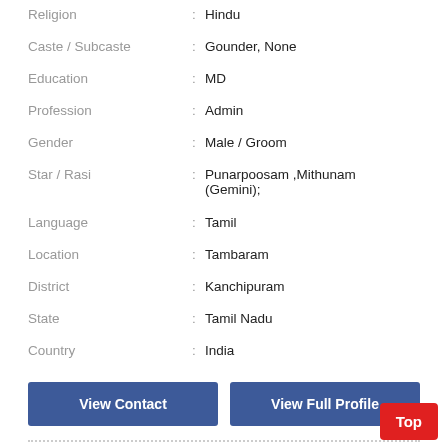Religion : Hindu
Caste / Subcaste : Gounder, None
Education : MD
Profession : Admin
Gender : Male / Groom
Star / Rasi : Punarpoosam ,Mithunam (Gemini);
Language : Tamil
Location : Tambaram
District : Kanchipuram
State : Tamil Nadu
Country : India
View Contact
View Full Profile
[Figure (illustration): Male avatar/silhouette icon in light blue, showing a generic male profile image for a matrimony listing]